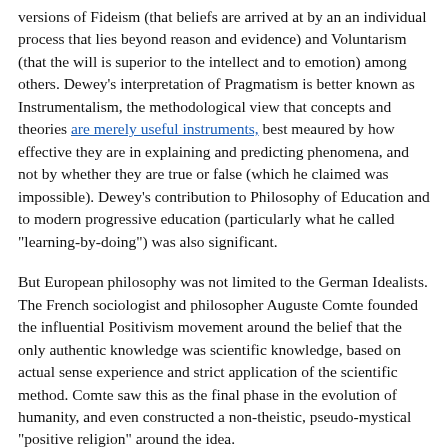versions of Fideism (that beliefs are arrived at by an an individual process that lies beyond reason and evidence) and Voluntarism (that the will is superior to the intellect and to emotion) among others. Dewey's interpretation of Pragmatism is better known as Instrumentalism, the methodological view that concepts and theories are merely useful instruments, best meaured by how effective they are in explaining and predicting phenomena, and not by whether they are true or false (which he claimed was impossible). Dewey's contribution to Philosophy of Education and to modern progressive education (particularly what he called "learning-by-doing") was also significant.
But European philosophy was not limited to the German Idealists. The French sociologist and philosopher Auguste Comte founded the influential Positivism movement around the belief that the only authentic knowledge was scientific knowledge, based on actual sense experience and strict application of the scientific method. Comte saw this as the final phase in the evolution of humanity, and even constructed a non-theistic, pseudo-mystical "positive religion" around the idea.
The Dane Søren Kierkegaard pursued his own lonely trail of thought. He too was a kind of Fideist and an extremely religious man (despite his attacks on the Danish state church). But his analysis of the way in which human freedom tends to lead to